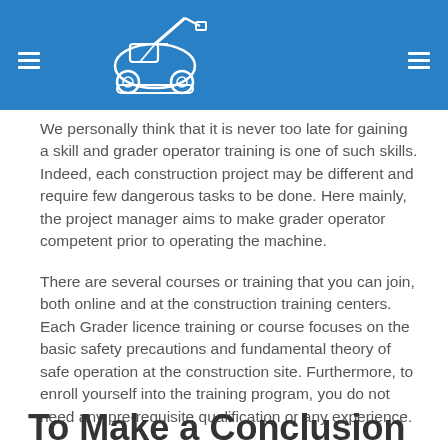Header bar with logo and navigation icons
We personally think that it is never too late for gaining a skill and grader operator training is one of such skills. Indeed, each construction project may be different and require few dangerous tasks to be done. Here mainly, the project manager aims to make grader operator competent prior to operating the machine.
There are several courses or training that you can join, both online and at the construction training centers. Each Grader licence training or course focuses on the basic safety precautions and fundamental theory of safe operation at the construction site. Furthermore, to enroll yourself into the training program, you do not need any pre-requisite qualification or any experience.
To Make a Conclusion